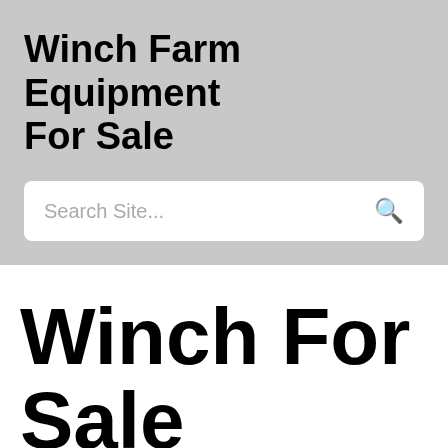Winch Farm Equipment For Sale
Search Site...
Winch For Sale